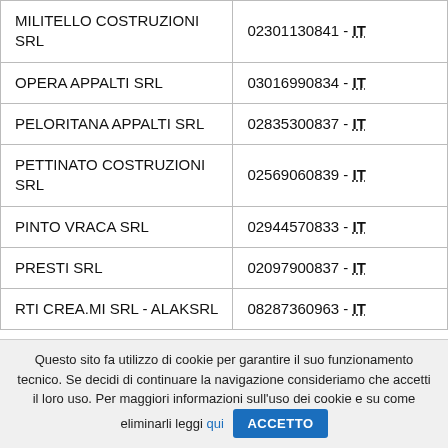| Company | VAT/ID |
| --- | --- |
| MILITELLO COSTRUZIONI SRL | 02301130841 - IT |
| OPERA APPALTI SRL | 03016990834 - IT |
| PELORITANA APPALTI SRL | 02835300837 - IT |
| PETTINATO COSTRUZIONI SRL | 02569060839 - IT |
| PINTO VRACA SRL | 02944570833 - IT |
| PRESTI SRL | 02097900837 - IT |
| RTI CREA.MI SRL - ALAKSRL | 08287360963 - IT |
Questo sito fa utilizzo di cookie per garantire il suo funzionamento tecnico. Se decidi di continuare la navigazione consideriamo che accetti il loro uso. Per maggiori informazioni sull'uso dei cookie e su come eliminarli leggi qui ACCETTO